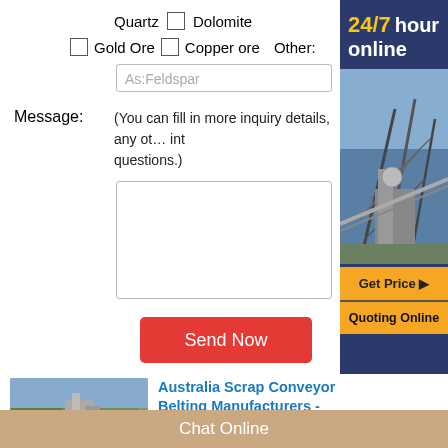Quartz  □  Dolomite
□ Gold Ore  □ Copper ore  Other:
As:Feldspar
Message:  (You can fill in more inquiry details, any other requirements or questions.)
[Figure (screenshot): Empty textarea message input box]
[Figure (illustration): Send Now red button]
[Figure (infographic): Sidebar with 24/7 hour online text in yellow and white on dark blue background, industrial facility photo, Get Price orange button, Quoting Online orange button]
[Figure (photo): Thumbnail image of a mining or quarry facility]
Australia Scrap Conveyor Belting Manufacturers - Australia ...
Find Australia scrap conveyor belting
Chat Online